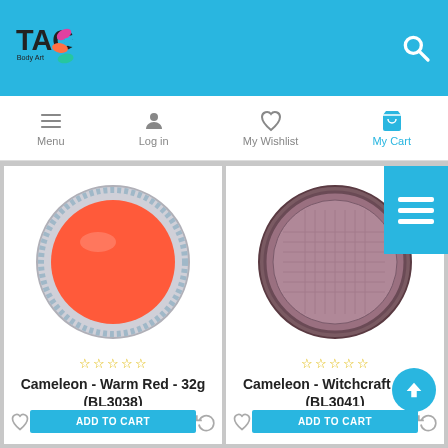TAG Body Art — navigation header with Menu, Log in, My Wishlist, My Cart
[Figure (photo): Product photo: Cameleon face paint — Warm Red 32g in a round silver pan with bright orange-red paint visible]
☆ ☆ ☆ ☆ ☆
Cameleon - Warm Red - 32g (BL3038)
$11.99
[Figure (photo): Product photo: Cameleon face paint — Witchcraft 32g in a round compact with mauve/dark rose shimmer color]
☆ ☆ ☆ ☆ ☆
Cameleon - Witchcraft - 32g (BL3041)
$11.99